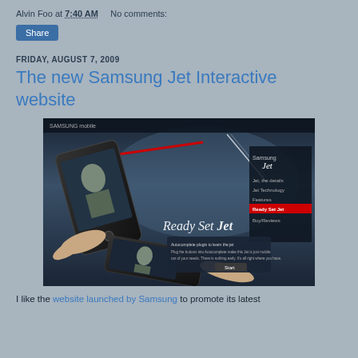Alvin Foo at 7:40 AM    No comments:
Share
FRIDAY, AUGUST 7, 2009
The new Samsung Jet Interactive website
[Figure (screenshot): Screenshot of the Samsung Jet Interactive website showing a dark background with Samsung mobile phones floating over hands, text 'Ready Set Jet' and a 'Start' button with navigation menu items on the right side]
I like the website launched by Samsung to promote its latest